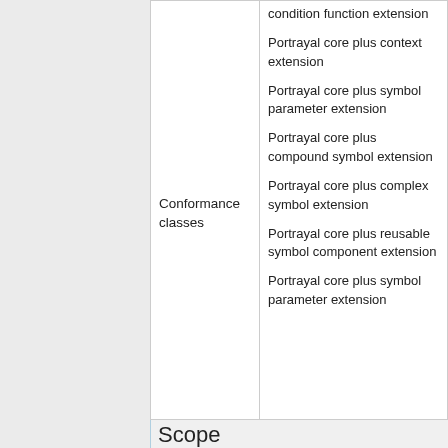| Conformance classes | condition function extension
Portrayal core plus context extension
Portrayal core plus symbol parameter extension
Portrayal core plus compound symbol extension
Portrayal core plus complex symbol extension
Portrayal core plus reusable symbol component extension
Portrayal core plus symbol parameter extension |
Scope